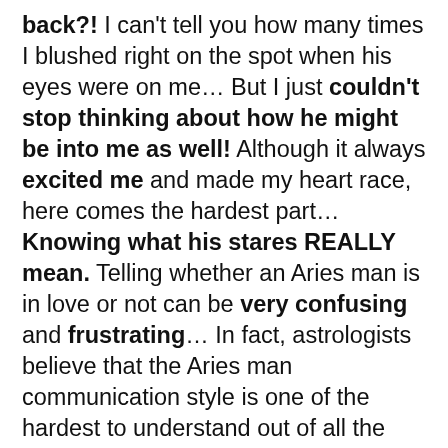back?! I can't tell you how many times I blushed right on the spot when his eyes were on me… But I just couldn't stop thinking about how he might be into me as well! Although it always excited me and made my heart race, here comes the hardest part…Knowing what his stares REALLY mean. Telling whether an Aries man is in love or not can be very confusing and frustrating… In fact, astrologists believe that the Aries man communication style is one of the hardest to understand out of all the other star signs in the galaxy! But don't worry — I've been through it all and I'm going to tell you exactly how to decode those mysterious eyes… With the help of other celestial experts, I've put together the